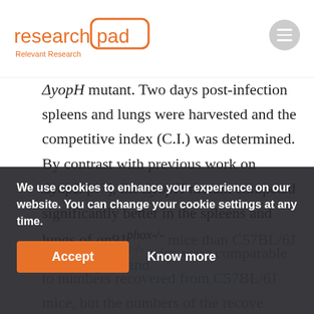research pad — Relevant Research
ΔyopH mutant. Two days post-infection spleens and lungs were harvested and the competitive index (C.I.) was determined. By contrast with previous work on ΔyopE [67], the ΔyopH mutant competed significantly better in the spleens and lungs of gp91phox-/- mice than C57BL/6J mice (Fig.1A and ...
from gp91phox-/- mice were comparable to numbers recovered from C57BL/6J mice, but the numbers of the recove...
We use cookies to enhance your experience on our website. You can change your cookie settings at any time.